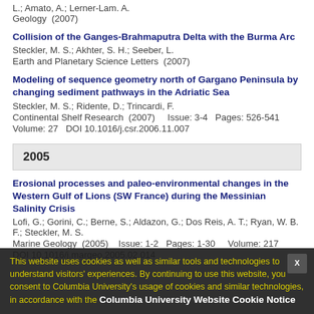L.; Amato, A.; Lerner-Lam. A.
Geology  (2007)
Collision of the Ganges-Brahmaputra Delta with the Burma Arc
Steckler, M. S.; Akhter, S. H.; Seeber, L.
Earth and Planetary Science Letters  (2007)
Modeling of sequence geometry north of Gargano Peninsula by changing sediment pathways in the Adriatic Sea
Steckler, M. S.; Ridente, D.; Trincardi, F.
Continental Shelf Research  (2007)    Issue: 3-4  Pages: 526-541
Volume: 27  DOI 10.1016/j.csr.2006.11.007
2005
Erosional processes and paleo-environmental changes in the Western Gulf of Lions (SW France) during the Messinian Salinity Crisis
Lofi, G.; Gorini, C.; Berne, S.; Aldazon, G.; Dos Reis, A. T.; Ryan, W. B. F.; Steckler, M. S.
Marine Geology  (2005)    Issue: 1-2  Pages: 1-30    Volume: 217
DOI 10.1016/j.margeo.2005.02.014